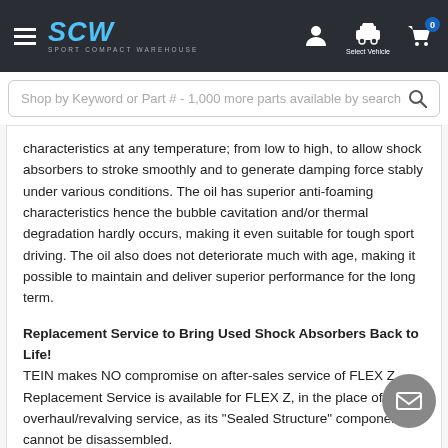SCW Sport Compact Warehouse - navigation header with search bar
characteristics at any temperature; from low to high, to allow shock absorbers to stroke smoothly and to generate damping force stably under various conditions. The oil has superior anti-foaming characteristics hence the bubble cavitation and/or thermal degradation hardly occurs, making it even suitable for tough sport driving. The oil also does not deteriorate much with age, making it possible to maintain and deliver superior performance for the long term.
Replacement Service to Bring Used Shock Absorbers Back to Life! TEIN makes NO compromise on after-sales service of FLEX Z. Replacement Service is available for FLEX Z, in the place of overhaul/revalving service, as its "Sealed Structure" components cannot be disassembled.